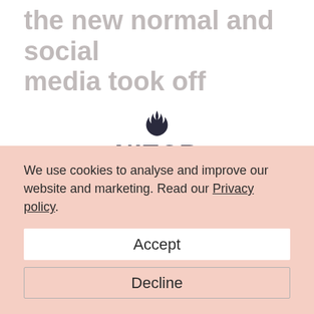the new normal and social media took off
[Figure (logo): NITCR logo with flame icon above stylized bold text 'NITCR' in dark navy]
We use cookies to analyse and improve our website and marketing. Read our Privacy policy.
Accept
Decline